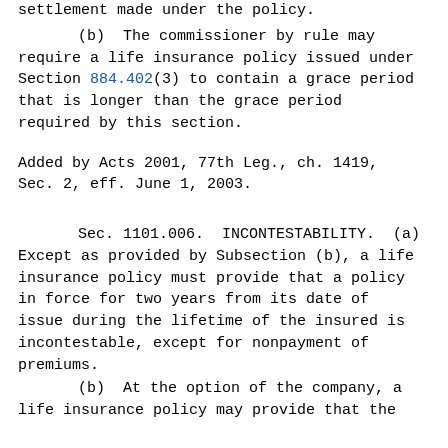settlement made under the policy.
(b)  The commissioner by rule may require a life insurance policy issued under Section 884.402(3) to contain a grace period that is longer than the grace period required by this section.
Added by Acts 2001, 77th Leg., ch. 1419, Sec. 2, eff. June 1, 2003.
Sec. 1101.006.  INCONTESTABILITY.  (a) Except as provided by Subsection (b), a life insurance policy must provide that a policy in force for two years from its date of issue during the lifetime of the insured is incontestable, except for nonpayment of premiums.
(b)  At the option of the company, a life insurance policy may provide that the